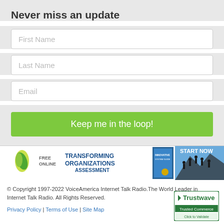Never miss an update
First Name
Last Name
Email
Keep me in the loop!
[Figure (infographic): Advertisement banner: Free Online Transforming Organizations Assessment with book cover image and Start Now button with silhouettes on mountain backdrop]
© Copyright 1997-2022 VoiceAmerica Internet Talk Radio.The World Leader in Internet Talk Radio. All Rights Reserved.
Privacy Policy | Terms of Use | Site Map
[Figure (logo): Trustwave Trusted Commerce Click to Validate badge]